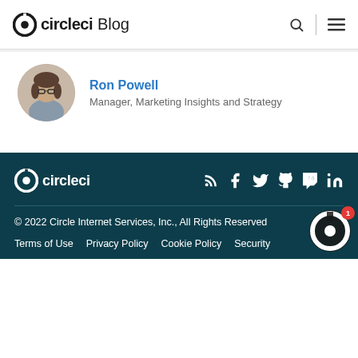circleci Blog
[Figure (photo): Author profile photo of Ron Powell, a man with glasses and shoulder-length hair]
Ron Powell
Manager, Marketing Insights and Strategy
[Figure (logo): CircleCI white logo in footer]
[Figure (infographic): Social media icons: RSS, Facebook, Twitter, GitHub, Twitch, LinkedIn]
© 2022 Circle Internet Services, Inc., All Rights Reserved
Terms of Use   Privacy Policy   Cookie Policy   Security